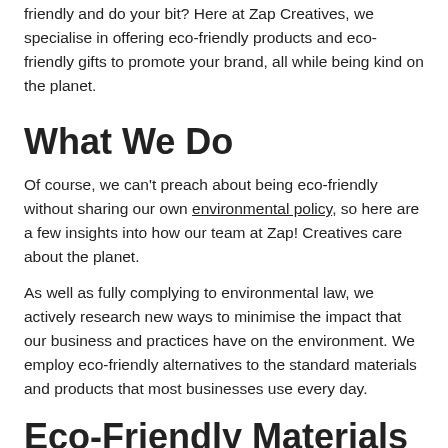friendly and do your bit? Here at Zap Creatives, we specialise in offering eco-friendly products and eco-friendly gifts to promote your brand, all while being kind on the planet.
What We Do
Of course, we can't preach about being eco-friendly without sharing our own environmental policy, so here are a few insights into how our team at Zap! Creatives care about the planet.
As well as fully complying to environmental law, we actively research new ways to minimise the impact that our business and practices have on the environment. We employ eco-friendly alternatives to the standard materials and products that most businesses use every day.
Eco-Friendly Materials
The promotional products and merchandise that we offer our clients are comprised of high-quality recycled materials, resulting in minimal impact on the environment. Among